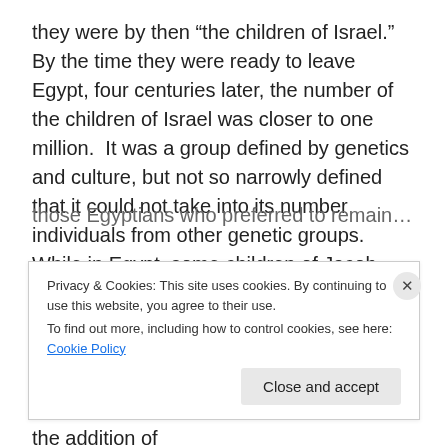they were by then “the children of Israel.”  By the time they were ready to leave Egypt, four centuries later, the number of the children of Israel was closer to one million.  It was a group defined by genetics and culture, but not so narrowly defined that it could not take into its number individuals from other genetic groups.  While in Egypt, some children of Jacob possibly followed the example of Joseph and married Egyptian mates.  Joseph married Asenath, the daughter of an Egyptian priest.  As the children of Israel left Egypt their number was augmented by the addition of those Egyptians who preferred to remain with the Hebrew
Privacy & Cookies: This site uses cookies. By continuing to use this website, you agree to their use.
To find out more, including how to control cookies, see here: Cookie Policy